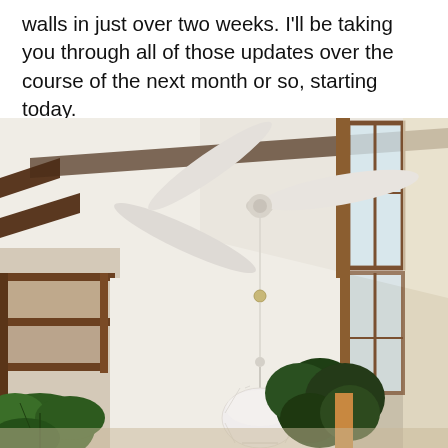walls in just over two weeks. I'll be taking you through all of those updates over the course of the next month or so, starting today.
[Figure (photo): Interior room photo showing a white ceiling fan with three blades mounted on a sloped white ceiling with exposed dark wood beam rafters. A pendant light hangs from a cord below. Large windows with wooden frames line the right side. Green houseplants are visible in the lower corners. The overall aesthetic is mid-century modern with a bright, airy feel.]